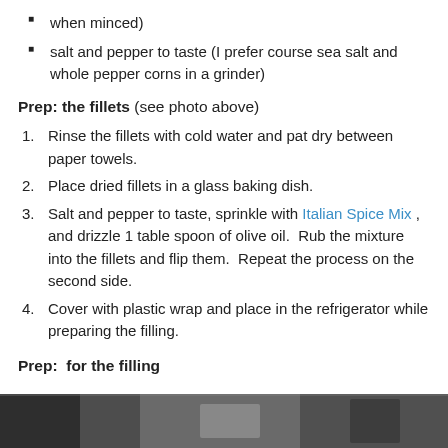when minced)
salt and pepper to taste (I prefer course sea salt and whole pepper corns in a grinder)
Prep: the fillets (see photo above)
Rinse the fillets with cold water and pat dry between paper towels.
Place dried fillets in a glass baking dish.
Salt and pepper to taste, sprinkle with Italian Spice Mix , and drizzle 1 table spoon of olive oil.  Rub the mixture into the fillets and flip them.  Repeat the process on the second side.
Cover with plastic wrap and place in the refrigerator while preparing the filling.
Prep:  for the filling
[Figure (photo): Partial photo strip at bottom of page showing food preparation images]